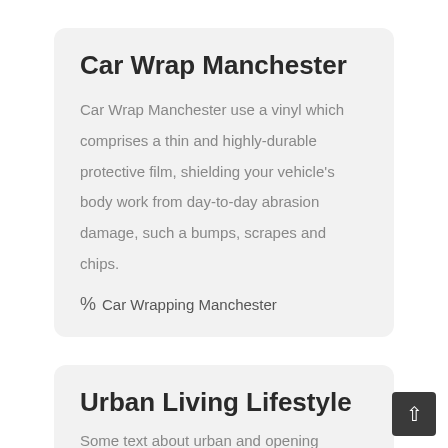Car Wrap Manchester
Car Wrap Manchester use a vinyl which comprises a thin and highly-durable protective film, shielding your vehicle's body work from day-to-day abrasion damage, such a bumps, scrapes and chips.
% Car Wrapping Manchester
Urban Living Lifestyle
Some text with body and opening...